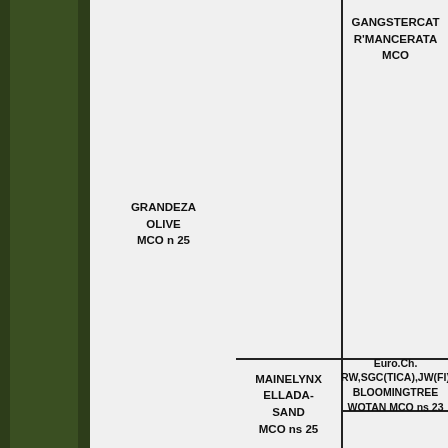| GRANDEZA OLIVE MCO n 25 |  | GANGSTERCAT R'MANCERATA MCO |
|  | MAINELYNX ELLADA-SAND MCO ns 25 | Euro.Ch. RW,SGC(TICA),JW(FI) BLOOMINGTREE WOTAN MCO ns 23 |
|  |  |  |